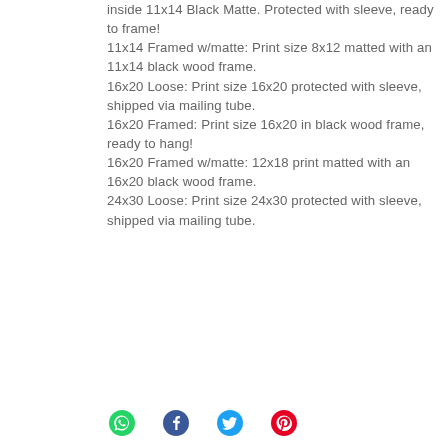inside 11x14 Black Matte. Protected with sleeve, ready to frame! 11x14 Framed w/matte: Print size 8x12 matted with an 11x14 black wood frame. 16x20 Loose: Print size 16x20 protected with sleeve, shipped via mailing tube. 16x20 Framed: Print size 16x20 in black wood frame, ready to hang! 16x20 Framed w/matte: 12x18 print matted with an 16x20 black wood frame. 24x30 Loose: Print size 24x30 protected with sleeve, shipped via mailing tube.
[Figure (infographic): Social share icons: WhatsApp (green), Facebook (dark), Twitter (blue), Pinterest (red/pink)]